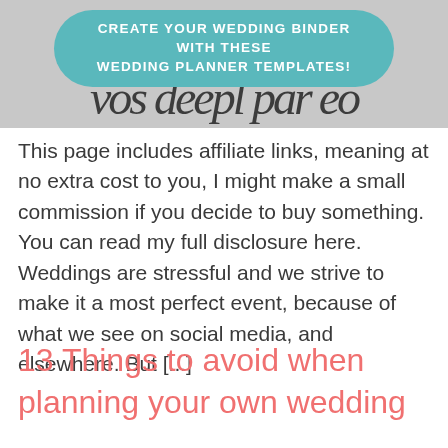[Figure (infographic): Top banner area with teal pill-shaped overlay reading 'CREATE YOUR WEDDING BINDER WITH THESE WEDDING PLANNER TEMPLATES!' over a gray image background with dark calligraphic text visible beneath.]
This page includes affiliate links, meaning at no extra cost to you, I might make a small commission if you decide to buy something. You can read my full disclosure here.   Weddings are stressful and we strive to make it a most perfect event, because of what we see on social media, and elsewhere. But [...]
13 Things to avoid when planning your own wedding